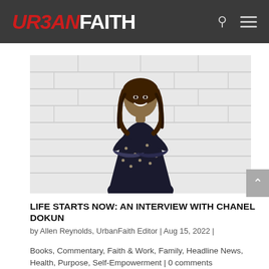URBAN FAITH
[Figure (photo): A smiling Black woman with long braided hair wearing a dark floral dress, arms crossed, standing against a white brick wall background.]
LIFE STARTS NOW: AN INTERVIEW WITH CHANEL DOKUN
by Allen Reynolds, UrbanFaith Editor | Aug 15, 2022 |
Books, Commentary, Faith & Work, Family, Headline News, Health, Purpose, Self-Empowerment | 0 comments